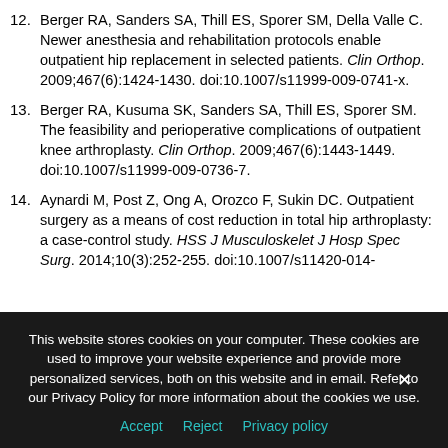12. Berger RA, Sanders SA, Thill ES, Sporer SM, Della Valle C. Newer anesthesia and rehabilitation protocols enable outpatient hip replacement in selected patients. Clin Orthop. 2009;467(6):1424-1430. doi:10.1007/s11999-009-0741-x.
13. Berger RA, Kusuma SK, Sanders SA, Thill ES, Sporer SM. The feasibility and perioperative complications of outpatient knee arthroplasty. Clin Orthop. 2009;467(6):1443-1449. doi:10.1007/s11999-009-0736-7.
14. Aynardi M, Post Z, Ong A, Orozco F, Sukin DC. Outpatient surgery as a means of cost reduction in total hip arthroplasty: a case-control study. HSS J Musculoskelet J Hosp Spec Surg. 2014;10(3):252-255. doi:10.1007/s11420-014-
This website stores cookies on your computer. These cookies are used to improve your website experience and provide more personalized services, both on this website and in email. Refer to our Privacy Policy for more information about the cookies we use.
Accept  Reject  Privacy policy